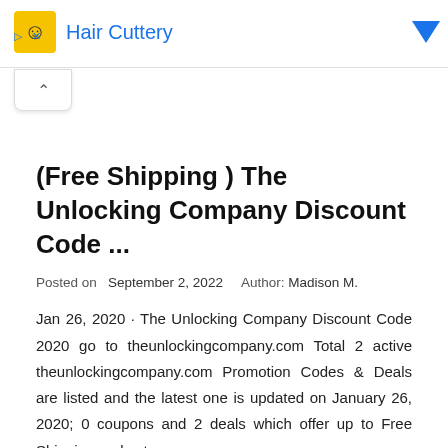Hair Cuttery
(Free Shipping ) The Unlocking Company Discount Code ...
Posted on  September 2, 2022     Author: Madison M.
Jan 26, 2020 · The Unlocking Company Discount Code 2020 go to theunlockingcompany.com Total 2 active theunlockingcompany.com Promotion Codes & Deals are listed and the latest one is updated on January 26, 2020; 0 coupons and 2 deals which offer up to Free Shipping and extra